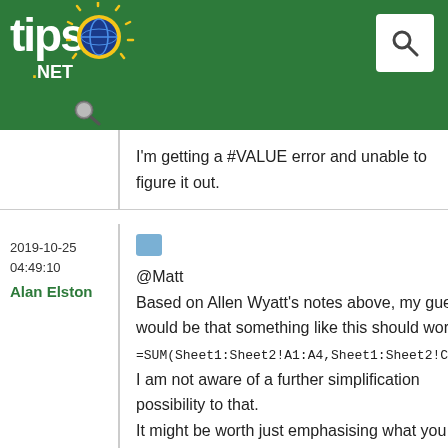[Figure (logo): tips.net logo with sun graphic on green header bar, and search button]
I'm getting a #VALUE error and unable to figure it out.
2019-10-25
04:49:10
Alan Elston
@Matt
Based on Allen Wyatt's notes above, my guess would be that something like this should work:
=SUM(Sheet1:Sheet2!A1:A4,Sheet1:Sheet2!C1:C4)
I am not aware of a further simplification possibility to that.
It might be worth just emphasising what you are doing with this example formula:
You are summing across all the Worksheets from Sheet1 to Sheet2. If you have English Excel and have left the Worksheet tab names at default, then you will be summing